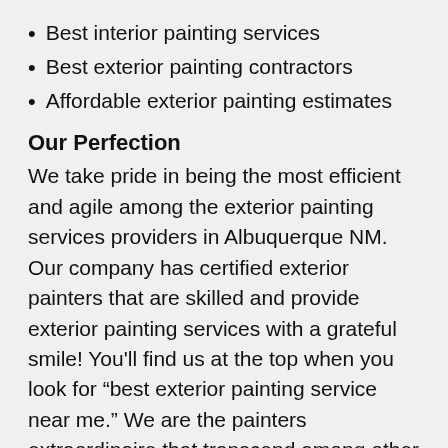Best interior painting services
Best exterior painting contractors
Affordable exterior painting estimates
Our Perfection
We take pride in being the most efficient and agile among the exterior painting services providers in Albuquerque NM. Our company has certified exterior painters that are skilled and provide exterior painting services with a grateful smile! You’ll find us at the top when you look for “best exterior painting service near me.” We are the painters extraordinaire that transcend among other exterior painting contractor companies in the area!